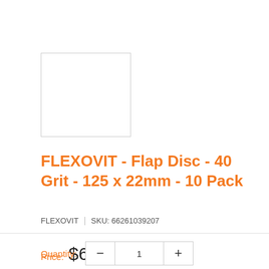[Figure (other): Empty product image placeholder box with light gray border]
FLEXOVIT - Flap Disc - 40 Grit - 125 x 22mm - 10 Pack
FLEXOVIT   SKU: 66261039207
Price: $60.36
Quantity: — 1 +